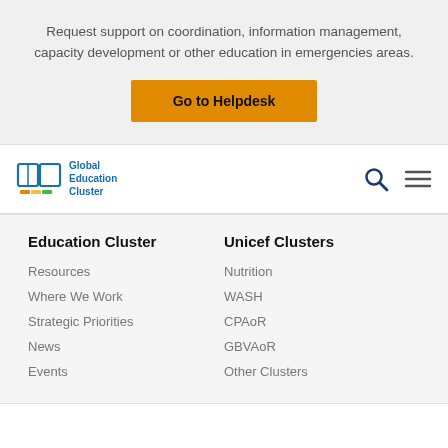Request support on coordination, information management, capacity development or other education in emergencies areas.
Go to Helpdesk
[Figure (logo): Global Education Cluster logo with open book icon and colored bar]
Education Cluster
Unicef Clusters
Resources
Where We Work
Strategic Priorities
News
Events
Nutrition
WASH
CPAoR
GBVAoR
Other Clusters